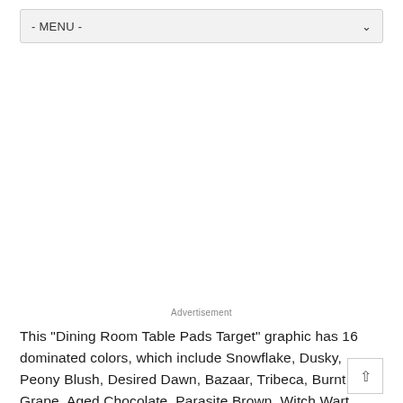- MENU -
Advertisement
This "Dining Room Table Pads Target" graphic has 16 dominated colors, which include Snowflake, Dusky, Peony Blush, Desired Dawn, Bazaar, Tribeca, Burnt Grape, Aged Chocolate, Parasite Brown, Witch Wart, Garden Shadow, Thamar Black, Highlands